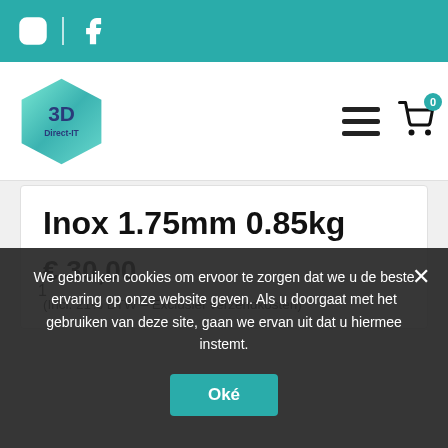Instagram | Facebook social icons and navigation bar
[Figure (logo): 3D Direct-IT hexagon logo in teal/green gradient]
Inox 1.75mm 0.85kg
€ 30,00
(Incl. 21% BTW – Exclusief verzendkosten)
We gebruiken cookies om ervoor te zorgen dat we u de beste ervaring op onze website geven. Als u doorgaat met het gebruiken van deze site, gaan we ervan uit dat u hiermee instemt.